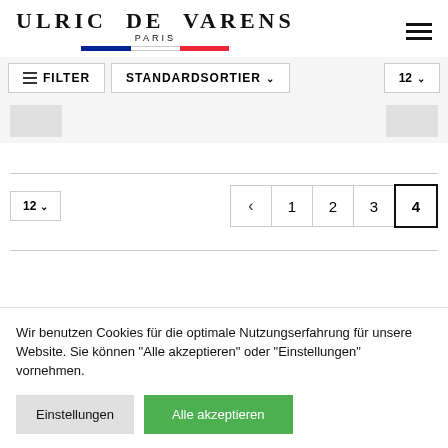[Figure (logo): Ulric de Varens Paris logo with French flag tricolor bar]
FILTER
STANDARDSORTIER
12
12
< 1 2 3 4
Wir benutzen Cookies für die optimale Nutzungserfahrung für unsere Website. Sie können "Alle akzeptieren" oder "Einstellungen" vornehmen.
Einstellungen
Alle akzeptieren